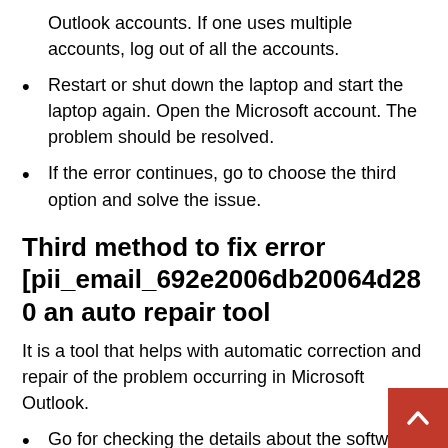Outlook accounts. If one uses multiple accounts, log out of all the accounts.
Restart or shut down the laptop and start the laptop again. Open the Microsoft account. The problem should be resolved.
If the error continues, go to choose the third option and solve the issue.
Third method to fix error [pii_email_692e2006db20064d280 an auto repair tool
It is a tool that helps with automatic correction and repair of the problem occurring in Microsoft Outlook.
Go for checking the details about the software by going to the control panel and the tool's function setup.